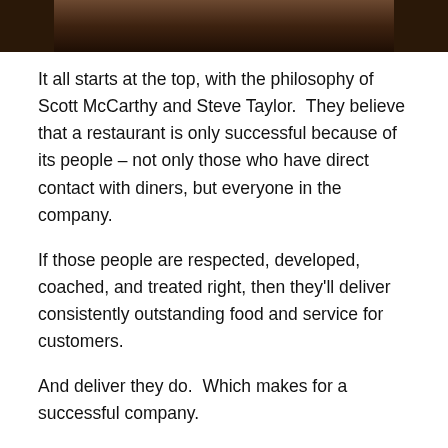[Figure (photo): Bottom portion of a portrait photo showing a person, dark toned background]
It all starts at the top, with the philosophy of Scott McCarthy and Steve Taylor.  They believe that a restaurant is only successful because of its people – not only those who have direct contact with diners, but everyone in the company.
If those people are respected, developed, coached, and treated right, then they'll deliver consistently outstanding food and service for customers.
And deliver they do.  Which makes for a successful company.
Steve and Scott could go crazy and start a lot more restaurants – after all, they've established that their philosophy works, and they have the touch that it takes